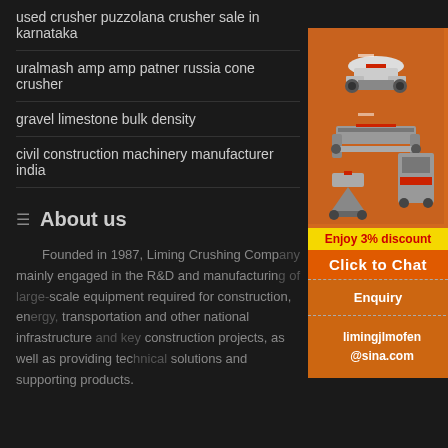used crusher puzzolana crusher sale in karnataka
uralmash amp amp patner russia cone crusher
gravel limestone bulk density
civil construction machinery manufacturer india
About us
Founded in 1987, Liming Crushing Comp... mainly engaged in the R&D and manufacturin... scale equipment required for construction, en... transportation and other national infrastructure... construction projects, as well as providing tec... solutions and supporting products.
[Figure (photo): Industrial crushing and screening machinery equipment advertisement with orange background showing multiple machines]
Enjoy 3% discount
Click to Chat
Enquiry
limingjlmofen @sina.com